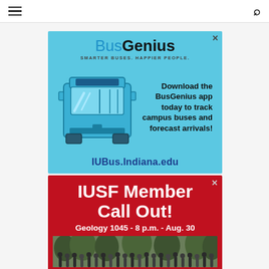☰ [hamburger menu] | [search icon]
[Figure (illustration): BusGenius advertisement. Light blue background. Header reads 'BusGenius' with tagline 'SMARTER BUSES. HAPPIER PEOPLE.' Below is an illustration of a blue bus (front view). Text to the right of the bus reads 'Download the BusGenius app today to track campus buses and forecast arrivals!' At the bottom in bold blue text: 'IUBus.Indiana.edu']
[Figure (illustration): IUSF Member Call Out advertisement. Red background. Large white bold text reads 'IUSF Member Call Out!' Subtitle text: 'Geology 1045 - 8 p.m. - Aug. 30'. Below is a partial photo of a group of people outdoors.]